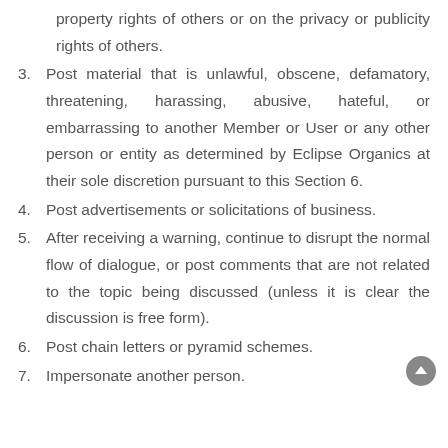property rights of others or on the privacy or publicity rights of others.
3. Post material that is unlawful, obscene, defamatory, threatening, harassing, abusive, hateful, or embarrassing to another Member or User or any other person or entity as determined by Eclipse Organics at their sole discretion pursuant to this Section 6.
4. Post advertisements or solicitations of business.
5. After receiving a warning, continue to disrupt the normal flow of dialogue, or post comments that are not related to the topic being discussed (unless it is clear the discussion is free form).
6. Post chain letters or pyramid schemes.
7. Impersonate another person.